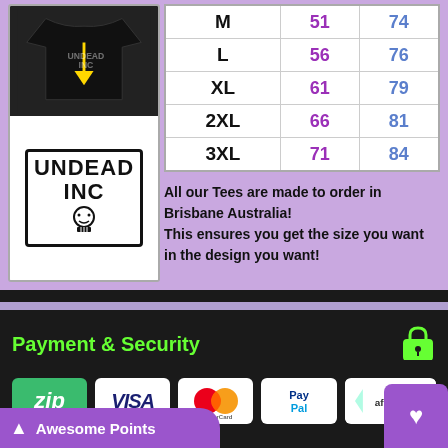[Figure (photo): Black t-shirt with Undead Inc logo, followed by hand-drawn Undead Inc skull logo below]
| Size | Col2 | Col3 |
| --- | --- | --- |
| M | 51 | 74 |
| L | 56 | 76 |
| XL | 61 | 79 |
| 2XL | 66 | 81 |
| 3XL | 71 | 84 |
All our Tees are made to order in Brisbane Australia! This ensures you get the size you want in the design you want!
Payment & Security
[Figure (logo): Payment logos: Zip, Visa, MasterCard, PayPal, Afterpay]
Awesome Points